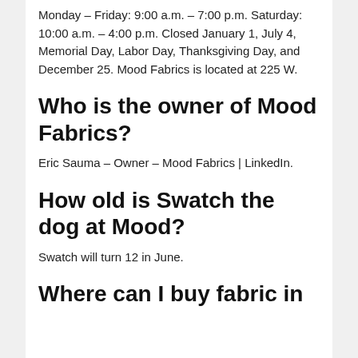Monday – Friday: 9:00 a.m. – 7:00 p.m. Saturday: 10:00 a.m. – 4:00 p.m. Closed January 1, July 4, Memorial Day, Labor Day, Thanksgiving Day, and December 25. Mood Fabrics is located at 225 W.
Who is the owner of Mood Fabrics?
Eric Sauma – Owner – Mood Fabrics | LinkedIn.
How old is Swatch the dog at Mood?
Swatch will turn 12 in June.
Where can I buy fabric in